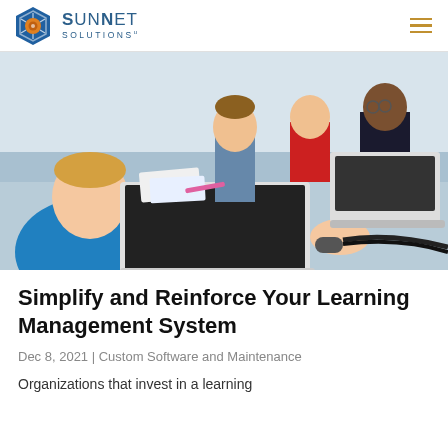SunNet Solutions
[Figure (photo): Children working on laptops in a classroom setting; a boy in a blue shirt uses a mouse on a laptop in the foreground while other students work in the background.]
Simplify and Reinforce Your Learning Management System
Dec 8, 2021 | Custom Software and Maintenance
Organizations that invest in a learning management system (LMS) have a successful...